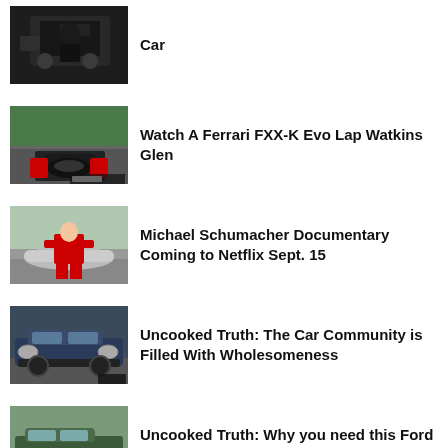[Figure (photo): Person working under car hood]
Car
[Figure (photo): Ferrari FXX-K cockpit view on track]
Watch A Ferrari FXX-K Evo Lap Watkins Glen
[Figure (photo): Michael Schumacher in red suit sitting on silver car on racetrack]
Michael Schumacher Documentary Coming to Netflix Sept. 15
[Figure (photo): Dark blue classic American muscle car front view]
Uncooked Truth: The Car Community is Filled With Wholesomeness
[Figure (photo): SUV/pickup truck on road]
Uncooked Truth: Why you need this Ford or Hyundai